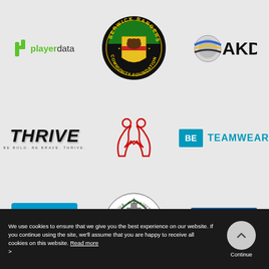[Figure (logo): playerdata logo - green icon with 'player' in grey and 'data' in green text]
[Figure (logo): Berwick Rangers Community Foundation circular badge logo with bear and shield]
[Figure (logo): AKD logo with cables/wires graphic and bold black AKD text]
[Figure (logo): THRIVE logo in bold italic black with tagline BE BOLD. BE BRAVE. THRIVE.]
[Figure (logo): Kappa logo - red outline of two figures back to back]
[Figure (logo): BE TEAMWEAR logo - blue square BE with TEAMWEAR text in teal]
[Figure (logo): tootoot logo - white text on cyan/blue background with wifi symbol]
[Figure (logo): Berwick Juniors FC circular badge with church tower]
[Figure (logo): MICHAEL GUTHRIE DEVELOPMENTS LTD logo - bold text on blue background]
We use cookies to ensure that we give you the best experience on our website. If you continue using the site, we'll assume that you are happy to receive all cookies on this website. Read more >